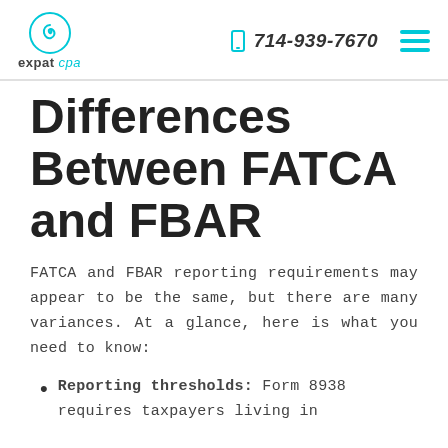expat cpa | 714-939-7670
Differences Between FATCA and FBAR
FATCA and FBAR reporting requirements may appear to be the same, but there are many variances. At a glance, here is what you need to know:
Reporting thresholds: Form 8938 requires taxpayers living in